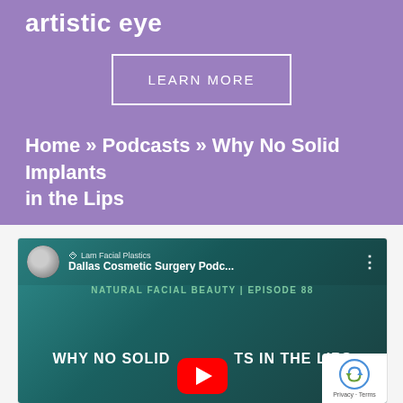artistic eye
LEARN MORE
Home » Podcasts » Why No Solid Implants in the Lips
[Figure (screenshot): YouTube video thumbnail for 'Dallas Cosmetic Surgery Podc...' by Lam Facial Plastics. Shows episode 88 titled 'Natural Facial Beauty' and subtitle 'Why No Solid Implants in the Lips' with a YouTube play button overlay. ReCAPTCHA badge visible in the corner.]